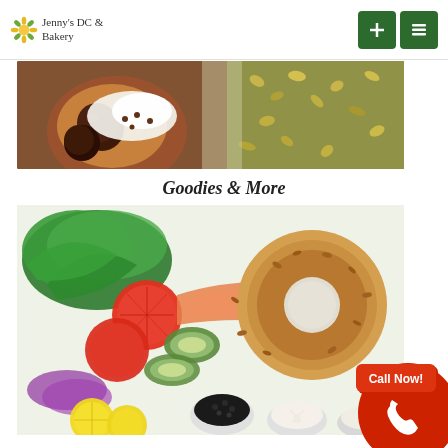Jenny's DC & Bakery
[Figure (photo): Close-up of dessert food: chocolate ganache, whipped cream, and chopped pistachios on a wooden board]
Goodies & More
[Figure (photo): Bagel sandwich platter with lettuce, tomato slices, cucumber, red onion, lemon slices, smoked salmon, and small bowls of cream cheese and capers, with a sesame bagel]
[Figure (infographic): Call Now button — red circle with white phone icon and text 'Call Now!']